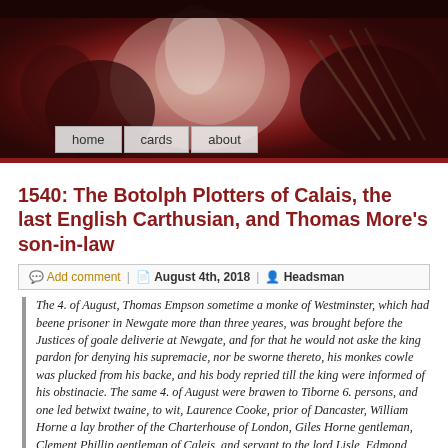[Figure (illustration): Dark dramatic painting banner showing figures with raised arms, in deep red and crimson tones, with navigation buttons overlay (home, cards, about)]
1540: The Botolph Plotters of Calais, the last English Carthusian, and Thomas More's son-in-law
Add comment | August 4th, 2018 | Headsman
The 4. of August, Thomas Empson sometime a monke of Westminster, which had beene prisoner in Newgate more than three yeares, was brought before the Justices of goale deliverie at Newgate, and for that he would not aske the king pardon for denying his supremacie, nor be sworne thereto, his monkes cowle was plucked from his backe, and his body repried till the king were informed of his obstinacie. The same 4. of August were brawen to Tiborne 6. persons, and one led betwixt twaine, to wit, Laurence Cooke, prior of Dancaster, William Horne a lay brother of the Charterhouse of London, Giles Horne gentleman, Clement Phillip gentleman of Caleis, and servant to the lord Lisle, Edmond Bromholme priest, chaplaine to the said lord Lisley, Darby Gening, Robert Bird, all hanged and quartered, and had beene attainted by parliament, for deniall of the kings supremacie.